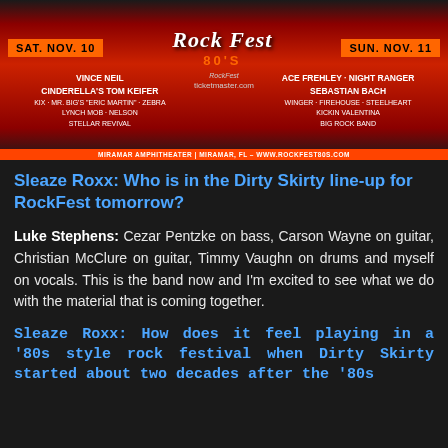[Figure (photo): RockFest 80's concert advertisement banner showing SAT. NOV. 10 and SUN. NOV. 11 dates with artists including Vince Neil, Cinderella's Tom Keifer, Ace Frehley, Night Ranger, Sebastian Bach and others at Miramar Amphitheater, Miramar, FL - www.rockfest80s.com]
Sleaze Roxx: Who is in the Dirty Skirty line-up for RockFest tomorrow?
Luke Stephens: Cezar Pentzke on bass, Carson Wayne on guitar, Christian McClure on guitar, Timmy Vaughn on drums and myself on vocals. This is the band now and I'm excited to see what we do with the material that is coming together.
Sleaze Roxx: How does it feel playing in a '80s style rock festival when Dirty Skirty started about two decades after the '80s